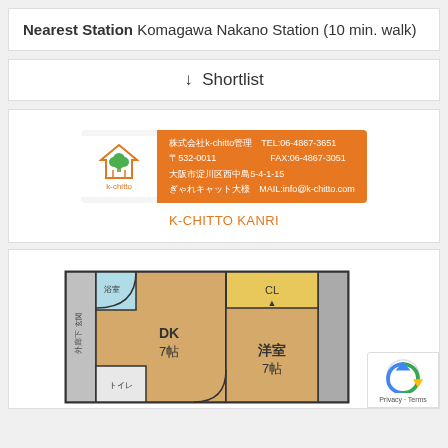Nearest Station Komagawa Nakano Station (10 min. walk)
↓ Shortlist
[Figure (logo): k-chitto kanri real estate agency logo with orange banner showing contact details: TEL:06-4867-3651, FAX:06-4867-3051, MAIL:info@k-chitto.com]
K-CHITTO KANRI
[Figure (engineering-diagram): Apartment floor plan showing DK 7帖 (dining kitchen 7 tatami) and 洋室 7帖 (western room 7 tatami) with CL (closet), toilet, bathroom areas, and balcony]